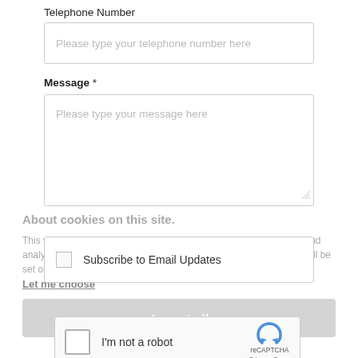Telephone Number
Please type your telephone number here
Message *
Please type your message here
About cookies on this site.
This website uses essential cookies to ensure its proper operation and analytics cookies. We understand how you interact with it. The latter will be set only after consent.
Subscribe to Email Updates
Let me choose
Accept all
I'm not a robot
Reject all
reCAPTCHA
Privacy · Terms